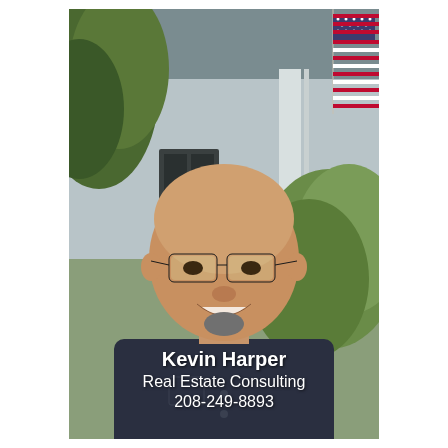[Figure (photo): Professional headshot of Kevin Harper, a bald man wearing black-rimmed glasses and a dark navy shirt, smiling outdoors in front of a house with an American flag and green foliage in the background.]
Kevin Harper
Real Estate Consulting
208-249-8893